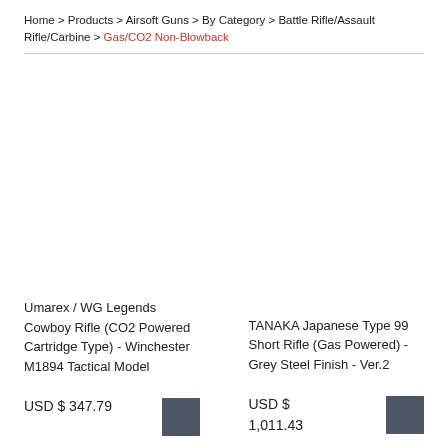Home > Products > Airsoft Guns > By Category > Battle Rifle/Assault Rifle/Carbine > Gas/CO2 Non-Blowback
Umarex / WG Legends Cowboy Rifle (CO2 Powered Cartridge Type) - Winchester M1894 Tactical Model
USD $ 347.79
TANAKA Japanese Type 99 Short Rifle (Gas Powered) - Grey Steel Finish - Ver.2
USD $ 1,011.43